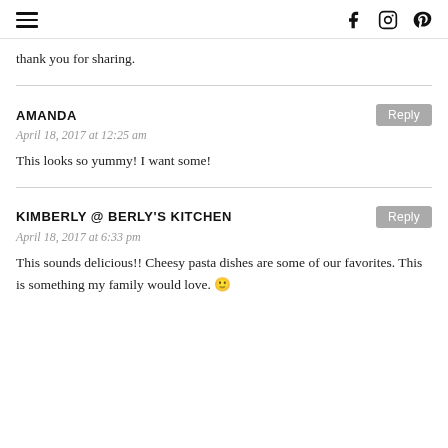hamburger menu | f | instagram | pinterest
thank you for sharing.
AMANDA
April 18, 2017 at 12:25 am
This looks so yummy! I want some!
KIMBERLY @ BERLY'S KITCHEN
April 18, 2017 at 6:33 pm
This sounds delicious!! Cheesy pasta dishes are some of our favorites. This is something my family would love. 🙂